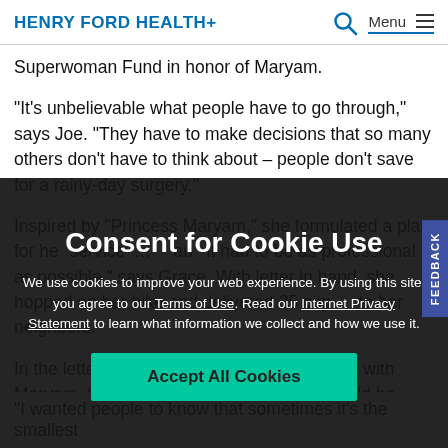HENRY FORD HEALTH+
Superwoman Fund in honor of Maryam.
“It’s unbelievable what people have to go through,” says Joe. “They have to make decisions that so many others don’t have to think about – people don’t save for a rainy-day surgery.”
Inspired by “Princess Maryam,” she formulated a plan for her services... it had to be as professional as possible,” says Grace. With letter in hand, she hopped on her bike and delivered 35 copies to her neighbors.
In the letter, Grace described her connection with Maryam. She also described how funds would be used to help patients buy necessities and clothing, as well as provide transportation.
[Figure (screenshot): Consent for Cookie Use modal overlay with dark background. Title: 'Consent for Cookie Use'. Body text: 'We use cookies to improve your web experience. By using this site, you agree to our Terms of Use. Read our Internet Privacy Statement to learn what information we collect and how we use it.' Accept All Cookies button in teal/green.]
“I wanted people to know that sometimes it’s the smallest